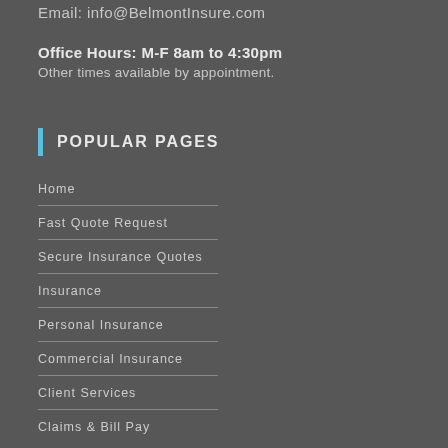Email: info@BelmontInsure.com
Office Hours: M-F 8am to 4:30pm
Other times available by appointment.
POPULAR PAGES
Home
Fast Quote Request
Secure Insurance Quotes
Insurance
Personal Insurance
Commercial Insurance
Client Services
Claims & Bill Pay